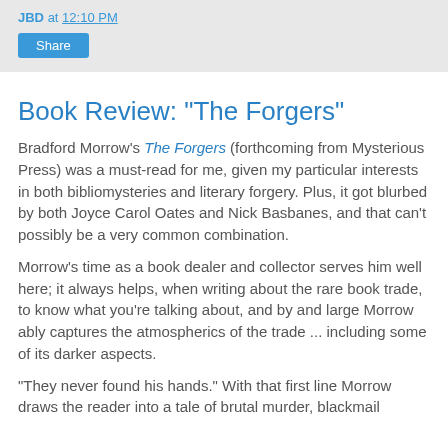JBD at 12:10 PM
Share
Book Review: "The Forgers"
Bradford Morrow's The Forgers (forthcoming from Mysterious Press) was a must-read for me, given my particular interests in both bibliomysteries and literary forgery. Plus, it got blurbed by both Joyce Carol Oates and Nick Basbanes, and that can't possibly be a very common combination.
Morrow's time as a book dealer and collector serves him well here; it always helps, when writing about the rare book trade, to know what you're talking about, and by and large Morrow ably captures the atmospherics of the trade ... including some of its darker aspects.
"They never found his hands." With that first line Morrow draws the reader into a tale of brutal murder, blackmail